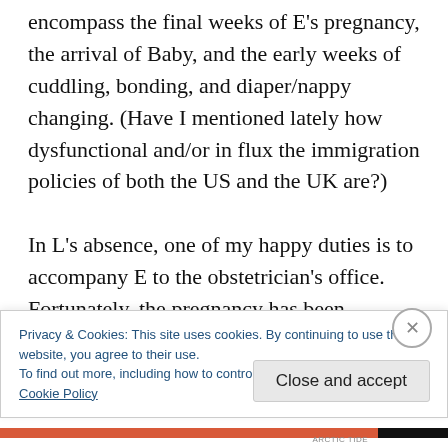encompass the final weeks of E's pregnancy, the arrival of Baby, and the early weeks of cuddling, bonding, and diaper/nappy changing. (Have I mentioned lately how dysfunctional and/or in flux the immigration policies of both the US and the UK are?)

In L's absence, one of my happy duties is to accompany E to the obstetrician's office. Fortunately, the pregnancy has been progressing smoothly and Baby seems to be
Privacy & Cookies: This site uses cookies. By continuing to use this website, you agree to their use.
To find out more, including how to control cookies, see here:
Cookie Policy
Close and accept